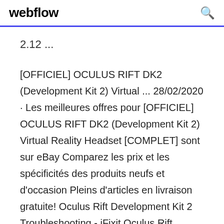webflow
2.12 ...
[OFFICIEL] OCULUS RIFT DK2 (Development Kit 2) Virtual ... 28/02/2020 · Les meilleures offres pour [OFFICIEL] OCULUS RIFT DK2 (Development Kit 2) Virtual Reality Headset [COMPLET] sont sur eBay Comparez les prix et les spécificités des produits neufs et d'occasion Pleins d'articles en livraison gratuite! Oculus Rift Development Kit 2 Troubleshooting - iFixit Oculus Rift Development Kit 2 Troubleshooting Device will not connect to computer You have plugged in the Oculus Rift DK2, but your computer does not seem to be responding to